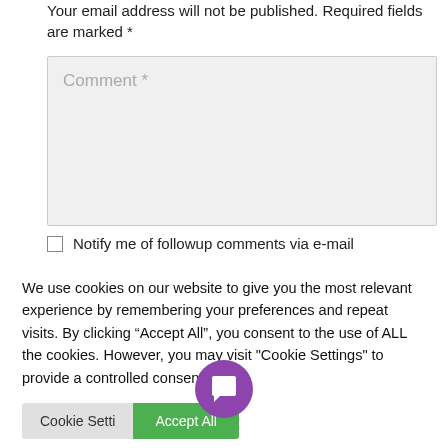Your email address will not be published. Required fields are marked *
Comment *
Notify me of followup comments via e-mail
We use cookies on our website to give you the most relevant experience by remembering your preferences and repeat visits. By clicking “Accept All”, you consent to the use of ALL the cookies. However, you may visit "Cookie Settings" to provide a controlled consent.
Cookie Settings | Accept All
[Figure (illustration): Purple circular chat bubble button icon]